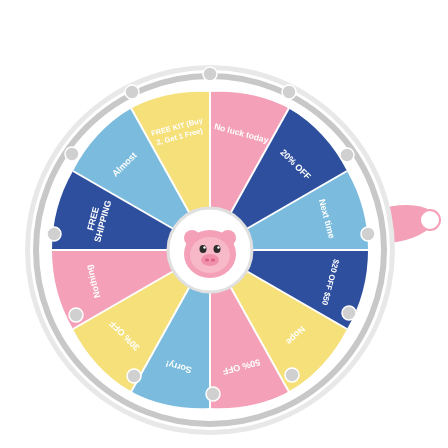[Figure (infographic): A colorful prize spin wheel with 12 segments in pink, blue, yellow, and light-blue colors. Segments are labeled: FREE SHIPPING, Almost, FREE KIT (Buy 2, Get 1 Free), No luck today, 20% OFF, Next time, $20 OFF $50, Nope, 50% OFF, Sorry!, 30% OFF, Nothing. The wheel has a white outer ring with decorative round knobs/pegs, a pink arrow pointer on the right side, and a cute pink pig character in the center hub.]